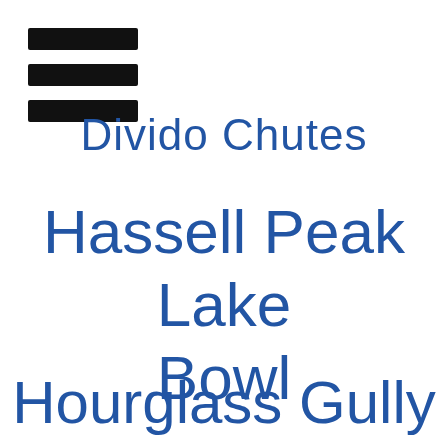[Figure (other): Hamburger menu icon: three horizontal black bars stacked vertically]
Divido Chutes
Hassell Peak Lake Bowl
Hourglass Gully